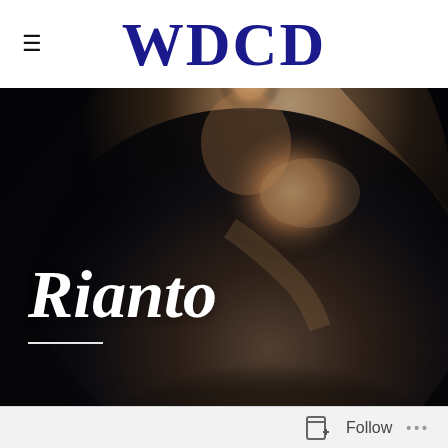WDCD
[Figure (photo): A shirtless male dancer in a crouched pose against a black background, looking downward with intense expression, wearing dark pants.]
Rianto
Follow ...